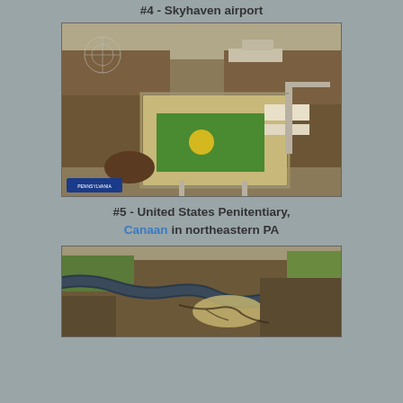#4 - Skyhaven airport
[Figure (photo): Aerial photograph of United States Penitentiary Canaan, showing the prison complex with surrounding wooded hills, roads, and a pond. Blue logo visible in lower left corner.]
#5 - United States Penitentiary, Canaan in northeastern PA
[Figure (photo): Aerial photograph showing a river or stream winding through forested terrain in northeastern Pennsylvania.]